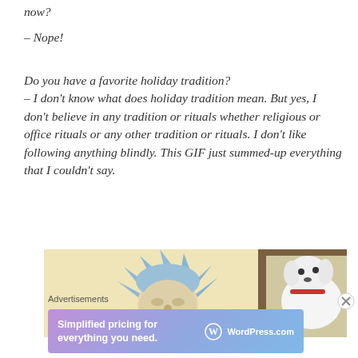now?
– Nope!
Do you have a favorite holiday tradition? – I don't know what does holiday tradition mean. But yes, I don't believe in any tradition or rituals whether religious or office rituals or any other tradition or rituals. I don't like following anything blindly. This GIF just summed-up everything that I couldn't say.
[Figure (illustration): Cartoon illustration showing Rick (from Rick and Morty) with blue spiky hair on the left, and a white fluffy dog on the right looking through a window, on a yellow/cream background.]
Advertisements
[Figure (screenshot): WordPress.com advertisement banner with gradient purple-blue background. Text reads 'Simplified pricing for everything you need.' with WordPress.com logo on the right.]